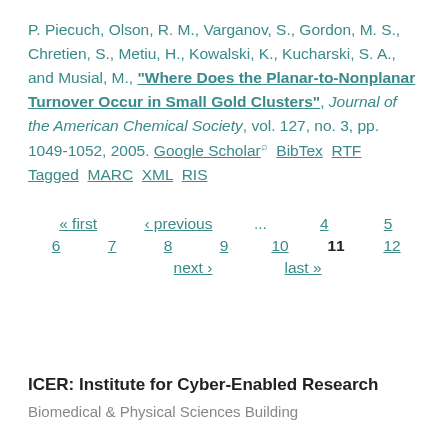P. Piecuch, Olson, R. M., Varganov, S., Gordon, M. S., Chretien, S., Metiu, H., Kowalski, K., Kucharski, S. A., and Musial, M., "Where Does the Planar-to-Nonplanar Turnover Occur in Small Gold Clusters", Journal of the American Chemical Society, vol. 127, no. 3, pp. 1049-1052, 2005. Google Scholar BibTex RTF Tagged MARC XML RIS
« first ‹ previous ... 4 5 6 7 8 9 10 11 12 next › last »
ICER: Institute for Cyber-Enabled Research
Biomedical & Physical Sciences Building